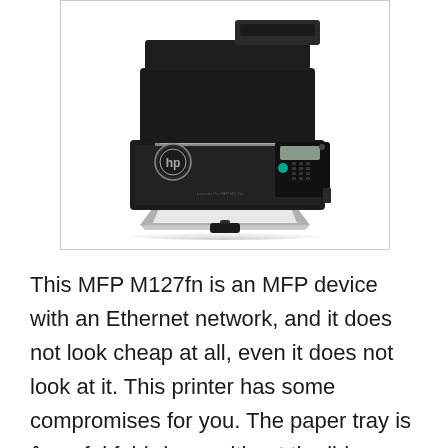[Figure (photo): HP LaserJet Pro MFP M127fn multifunction printer, black, front-facing view showing paper output tray extended with paper, control panel on right side with keypad and display, HP logo on left side, document feeder on top.]
This MFP M127fn is an MFP device with an Ethernet network, and it does not look cheap at all, even it does not look at it. This printer has some compromises for you. The paper tray is a useful fold-down without the lid, so the top sheet